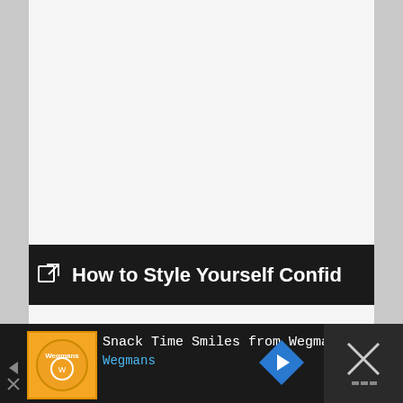[Figure (screenshot): White/light gray content area (blank) above a dark banner]
How to Style Yourself Confid
[Figure (other): Advertisement bar at bottom: Wegmans Snack Time Smiles ad with orange logo, navigation arrow badge, and close X button]